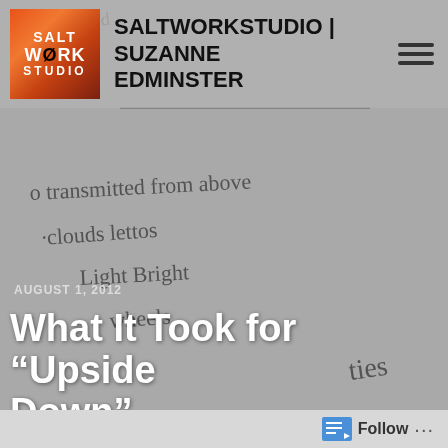SALTWORKSTUDIO | SUZANNE EDMINSTER
[Figure (photo): Background photo of handwritten notes on gray paper showing words: 'transmitted from above', 'clouds', 'lettos', 'Light', 'Bright', 'wheels', 'ties/eyes']
AUGUST 1, 2012
What It Took for “Upside Down”
by Suzanne Edminster at Saltworkstudio. In Abstract
Follow